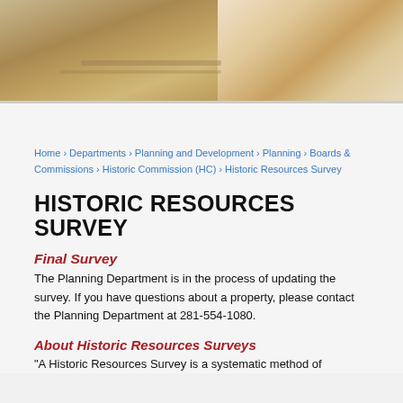[Figure (photo): Photo of two pairs of hands working over documents or blueprints on a table, cropped at top of page]
Home › Departments › Planning and Development › Planning › Boards & Commissions › Historic Commission (HC) › Historic Resources Survey
HISTORIC RESOURCES SURVEY
Final Survey
The Planning Department is in the process of updating the survey. If you have questions about a property, please contact the Planning Department at 281-554-1080.
About Historic Resources Surveys
"A Historic Resources Survey is a systematic method of